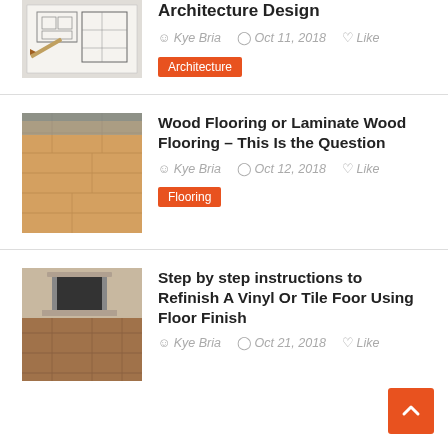[Figure (photo): Architectural blueprint sketch with floor plan drawings]
Architecture Design
Kye Bria  Oct 11, 2018  Like
Architecture
[Figure (photo): Wood laminate flooring interior room photo]
Wood Flooring or Laminate Wood Flooring – This Is the Question
Kye Bria  Oct 12, 2018  Like
Flooring
[Figure (photo): Room with vinyl or tile floor and fireplace]
Step by step instructions to Refinish A Vinyl Or Tile Foor Using Floor Finish
Kye Bria  Oct 21, 2018  Like